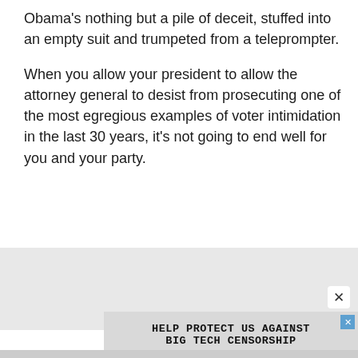Obama's nothing but a pile of deceit, stuffed into an empty suit and trumpeted from a teleprompter.
When you allow your president to allow the attorney general to desist from prosecuting one of the most egregious examples of voter intimidation in the last 30 years, it's not going to end well for you and your party.
[Figure (other): Gray advertisement area with close button (×) and an ad banner reading 'HELP PROTECT US AGAINST BIG TECH CENSORSHIP' in bold monospace text on a light gray background]